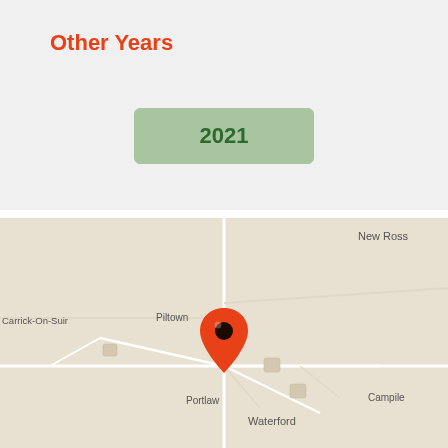Other Years
2021
[Figure (map): Map showing the area around Waterford, Ireland, including labels for New Ross, Carrick-On-Suir, Piltown, Portlaw, Campile, and Waterford, with a red location pin marker placed near the center of the map between Piltown and Waterford.]